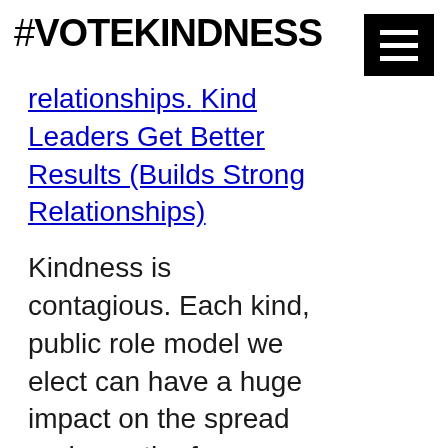#VOTEKINDNESS
relationships. Kind Leaders Get Better Results (Builds Strong Relationships)
Kindness is contagious. Each kind, public role model we elect can have a huge impact on the spread and growth of kindness in our